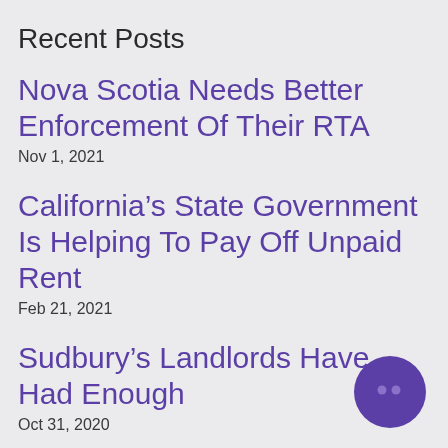Recent Posts
Nova Scotia Needs Better Enforcement Of Their RTA
Nov 1, 2021
California’s State Government Is Helping To Pay Off Unpaid Rent
Feb 21, 2021
Sudbury’s Landlords Have Had Enough
Oct 31, 2020
[Figure (illustration): Purple circular chat bubble icon in the bottom-right corner]